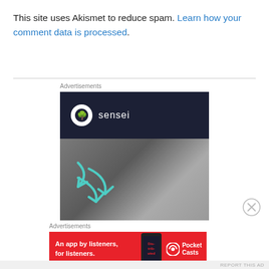This site uses Akismet to reduce spam. Learn how your comment data is processed.
Advertisements
[Figure (illustration): Sensei advertisement banner with dark navy top section showing Sensei logo and name, and lower grey section with teal arrow graphics and a hand/figure image.]
[Figure (illustration): Close/dismiss button (X in circle) for advertisement.]
Advertisements
[Figure (illustration): Pocket Casts advertisement: red background with text 'An app by listeners, for listeners.' and Pocket Casts logo with phone image showing 'Distributed' text on screen.]
REPORT THIS AD